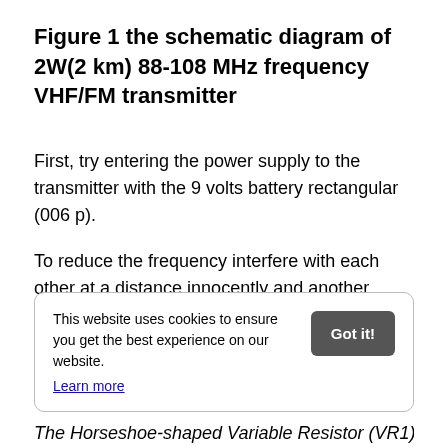Figure 1 the schematic diagram of 2W(2 km) 88-108 MHz frequency VHF/FM transmitter
First, try entering the power supply to the transmitter with the 9 volts battery rectangular (006 p).
To reduce the frequency interfere with each other at a distance innocently and another, reduce crashes hum.
This website uses cookies to ensure you get the best experience on our website. Learn more [Got it!]
The Horseshoe-shaped Variable Resistor (VR1) is